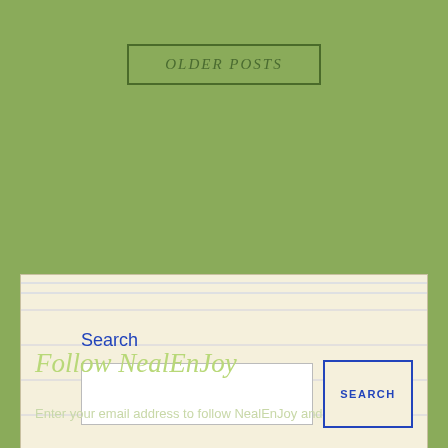OLDER POSTS
Search
SEARCH
Follow NealEnJoy
Enter your email address to follow NealEnJoy and